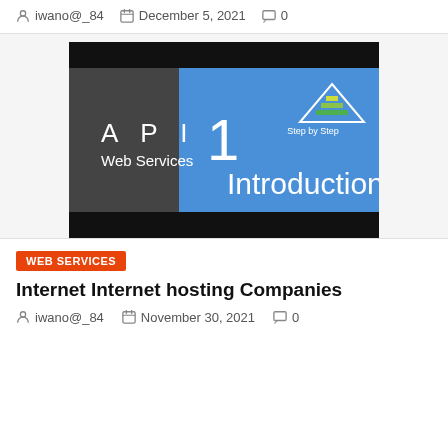iwano@_84  December 5, 2021  0
[Figure (screenshot): Video thumbnail for 'API Web Services 1 Introduction' with blue and dark grey background, Step by Step logo, and layered pyramid icon]
WEB SERVICES
Internet Internet hosting Companies
iwano@_84  November 30, 2021  0